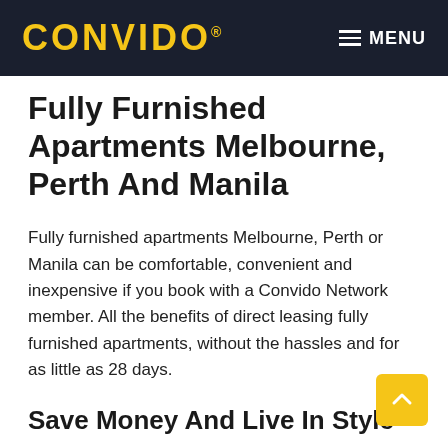CONVIDO  MENU
Fully Furnished Apartments Melbourne, Perth And Manila
Fully furnished apartments Melbourne, Perth or Manila can be comfortable, convenient and inexpensive if you book with a Convido Network member. All the benefits of direct leasing fully furnished apartments, without the hassles and for as little as 28 days.
Save Money And Live In Style
An executive apartment in Melbourne and other Convido Network cities can be yours at a